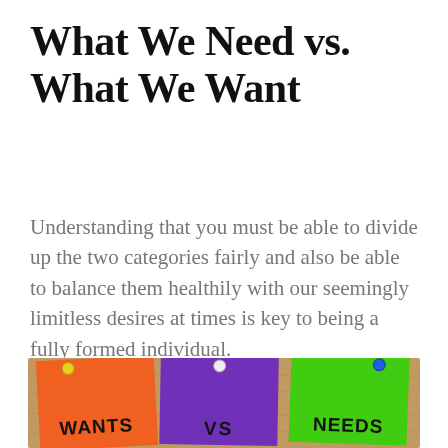What We Need vs. What We Want
Understanding that you must be able to divide up the two categories fairly and also be able to balance them healthily with our seemingly limitless desires at times is key to being a fully formed individual.
[Figure (photo): Photo of three colorful sticky notes pinned to a corkboard. An orange note on the left reads WANTS, a purple note in the middle reads VS, and a green note on the right reads NEEDS.]